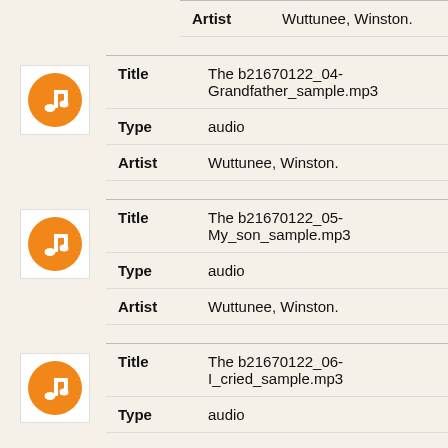| Field | Value |
| --- | --- |
| Artist | Wuttunee, Winston. |
[Figure (illustration): Orange circle music note icon]
| Field | Value |
| --- | --- |
| Title | The b21670122_04-Grandfather_sample.mp3 |
| Type | audio |
| Artist | Wuttunee, Winston. |
[Figure (illustration): Orange circle music note icon]
| Field | Value |
| --- | --- |
| Title | The b21670122_05-My_son_sample.mp3 |
| Type | audio |
| Artist | Wuttunee, Winston. |
[Figure (illustration): Orange circle music note icon]
| Field | Value |
| --- | --- |
| Title | The b21670122_06-I_cried_sample.mp3 |
| Type | audio |